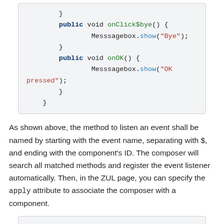[Figure (screenshot): Code block showing Java methods: onClick$bye() calling Messsagebox.show("Bye") and onOK() calling Messsagebox.show("OK pressed"), with closing braces.]
As shown above, the method to listen an event shall be named by starting with the event name, separating with $, and ending with the component's ID. The composer will search all matched methods and register the event listener automatically. Then, in the ZUL page, you can specify the apply attribute to associate the composer with a component.
[Figure (screenshot): XML/ZUL code block showing <window apply="MyComposer"> and <textbox/>]